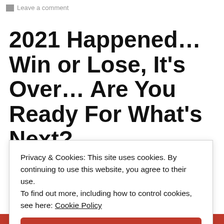Leave a comment
2021 Happened… Win or Lose, It's Over… Are You Ready For What's Next?
Privacy & Cookies: This site uses cookies. By continuing to use this website, you agree to their use. To find out more, including how to control cookies, see here: Cookie Policy
Close and accept